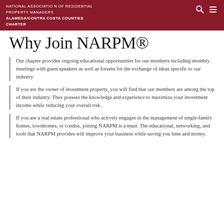NATIONAL ASSOCIATION OF RESIDENTIAL PROPERTY MANAGERS ALAMEDA/CONTRA COSTA COUNTIES CHARTER
Why Join NARPM®
Our chapter provides ongoing educational opportunities for our members including monthly meetings with guest speakers as well as forums for the exchange of ideas specific to our industry.
If you are the owner of investment property, you will find that our members are among the top of their industry. They possess the knowledge and experience to maximize your investment income while reducing your overall risk.
If you are a real estate professional who actively engages in the management of single-family homes, townhomes, or condos, joining NARPM is a must. The educational, networking, and tools that NARPM provides will improve your business while saving you time and money.